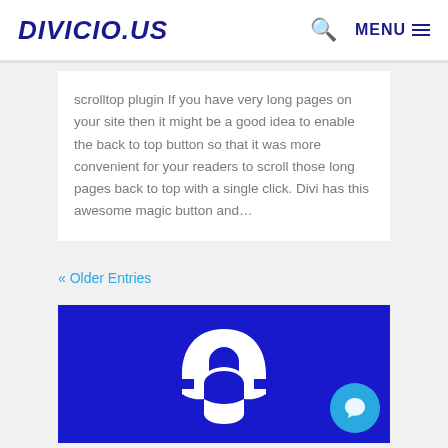DIVICIO.US  🔍  MENU ≡
scrolltop plugin If you have very long pages on your site then it might be a good idea to enable the back to top button so that it was more convenient for your readers to scroll those long pages back to top with a single click. Divi has this awesome magic button and…
« Older Entries
[Figure (illustration): Dark blue background with a white Divi/Magento-style helmet logo icon centered on it.]